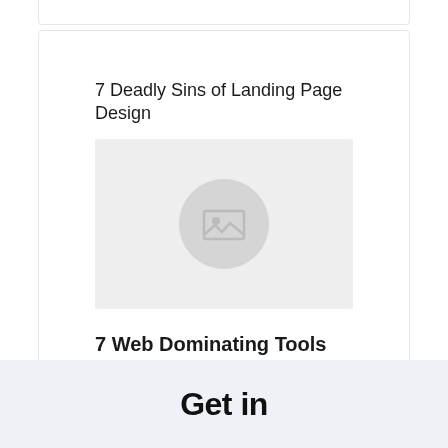[Figure (screenshot): Top portion of a card partially visible at the top of the page]
7 Deadly Sins of Landing Page Design
[Figure (photo): Image placeholder with a grey circle containing an image icon, inside a light grey rectangle]
7 Web Dominating Tools You Haven't Heard of (Updated! w/ Bonus)
Get in